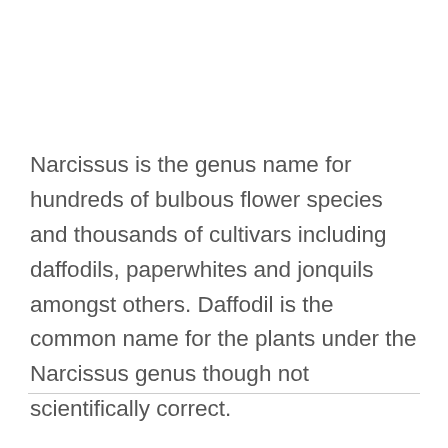Narcissus is the genus name for hundreds of bulbous flower species and thousands of cultivars including daffodils, paperwhites and jonquils amongst others. Daffodil is the common name for the plants under the Narcissus genus though not scientifically correct.